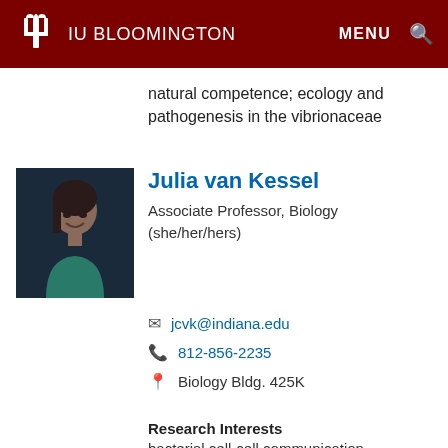IU BLOOMINGTON | MENU
natural competence; ecology and pathogenesis in the vibrionaceae
[Figure (photo): Headshot photograph of Julia van Kessel, a woman with dark hair, smiling, wearing a teal top, against a dark background.]
Julia van Kessel
Associate Professor, Biology (she/her/hers)
jcvk@indiana.edu
812-856-2235
Biology Bldg. 425K
Research Interests
bacterial cell-cell communication